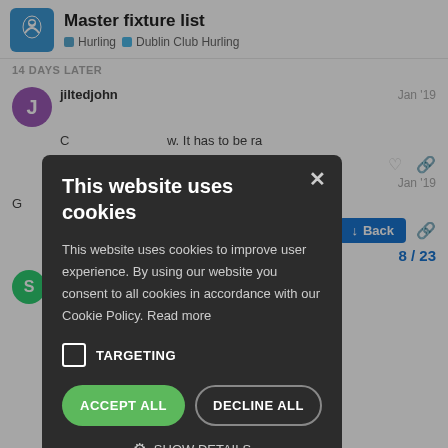Master fixture list — Hurling · Dublin Club Hurling
14 DAYS LATER
jiltedjohn  Jan '19
C... w. It has to be ra...
Jan '19
G...
[Figure (screenshot): Cookie consent modal dialog with dark background. Title: 'This website uses cookies'. Body text: 'This website uses cookies to improve user experience. By using our website you consent to all cookies in accordance with our Cookie Policy. Read more'. Checkbox labeled TARGETING. Buttons: ACCEPT ALL (green) and DECLINE ALL (outline). Link: SHOW DETAILS with gear icon. Close X button top right.]
← Back
8 / 23
sneakersotoole